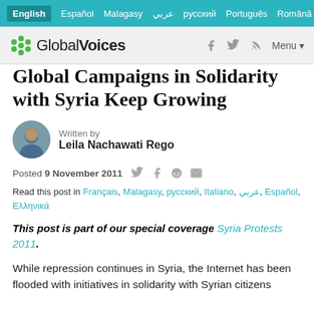English | Español | Malagasy | عربي | русский | Português | Română
[Figure (logo): Global Voices logo with teal flower icon, social media icons (f, twitter, RSS), and Menu button]
Global Campaigns in Solidarity with Syria Keep Growing
Written by Leila Nachawati Rego
Posted 9 November 2011
Read this post in Français, Malagasy, русский, Italiano, عربي, Español, Ελληνικά
This post is part of our special coverage Syria Protests 2011.
While repression continues in Syria, the Internet has been flooded with initiatives in solidarity with Syrian citizens